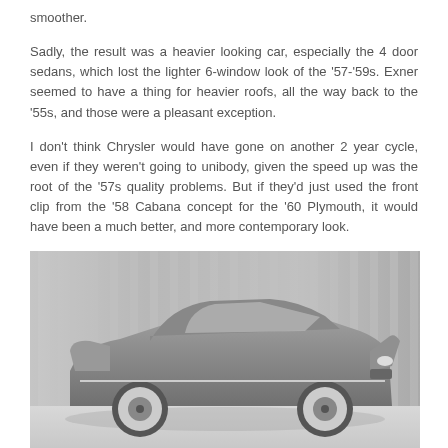smoother.
Sadly, the result was a heavier looking car, especially the 4 door sedans, which lost the lighter 6-window look of the '57-'59s. Exner seemed to have a thing for heavier roofs, all the way back to the '55s, and those were a pleasant exception.
I don't think Chrysler would have gone on another 2 year cycle, even if they weren't going to unibody, given the speed up was the root of the '57s quality problems. But if they'd just used the front clip from the '58 Cabana concept for the '60 Plymouth, it would have been a much better, and more contemporary look.
[Figure (photo): Black and white photograph of a 1958 Cabana concept car, a sleek low-slung automobile with fins and whitewall tires, shown in a studio setting with a striped background.]
Reply
imperialman67
August 6, 2012
God I love these! Growing up my family had not one, but two 60 Plymouth suburbans. For a short while we had them both at the same time.